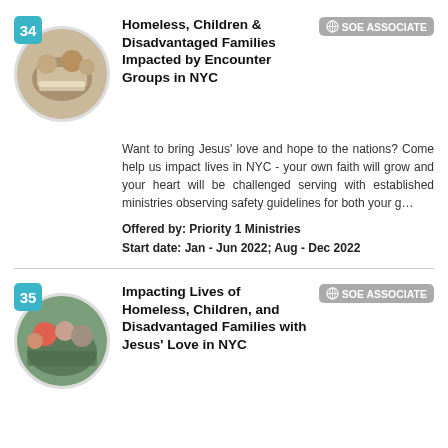[Figure (photo): Circular photo of people at a table with food, outreach event]
Homeless, Children & Disadvantaged Families Impacted by Encounter Groups in NYC
Want to bring Jesus' love and hope to the nations? Come help us impact lives in NYC - your own faith will grow and your heart will be challenged serving with established ministries observing safety guidelines for both your g…
Offered by: Priority 1 Ministries
Start date: Jan - Jun 2022; Aug - Dec 2022
[Figure (photo): Circular photo of people outdoors, community outreach]
Impacting Lives of Homeless, Children, and Disadvantaged Families with Jesus' Love in NYC